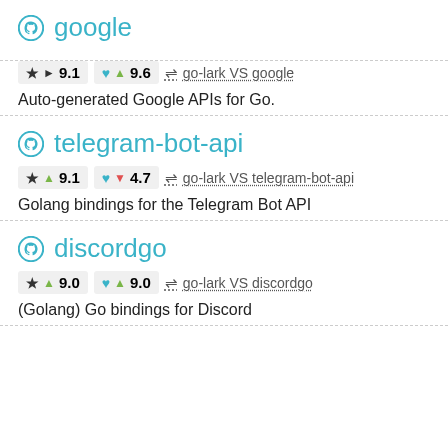google
★ ▶ 9.1   ♥ ▲ 9.6   ⇌ go-lark VS google
Auto-generated Google APIs for Go.
telegram-bot-api
★ ▲ 9.1   ♥ ▼ 4.7   ⇌ go-lark VS telegram-bot-api
Golang bindings for the Telegram Bot API
discordgo
★ ▲ 9.0   ♥ ▲ 9.0   ⇌ go-lark VS discordgo
(Golang) Go bindings for Discord